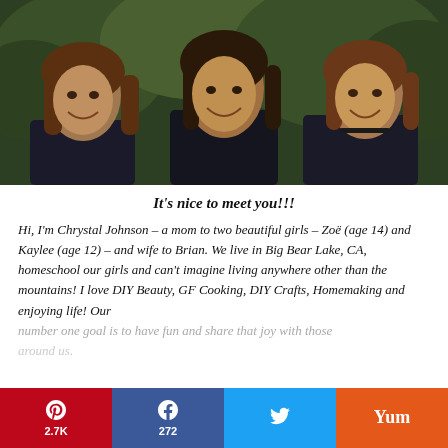[Figure (photo): Three smiling women/girls standing together outdoors in front of pine trees, all wearing dark clothing. A mother and her two daughters.]
It's nice to meet you!!!
Hi, I'm Chrystal Johnson – a mom to two beautiful girls – Zoë (age 14) and Kaylee (age 12) – and wife to Brian. We live in Big Bear Lake, CA, homeschool our girls and can't imagine living anywhere other than the mountains! I love DIY Beauty, GF Cooking, DIY Crafts, Homemaking and enjoying life! Our number one goal is to have fun and share that joy with those around us.